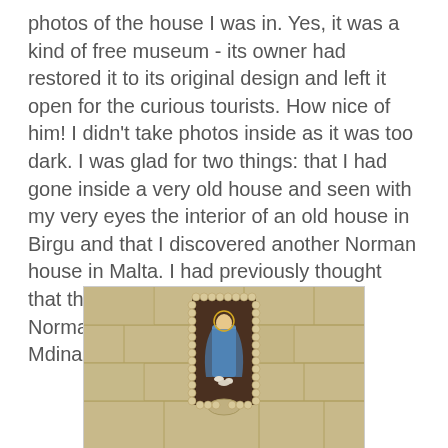photos of the house I was in. Yes, it was a kind of free museum - its owner had restored it to its original design and left it open for the curious tourists. How nice of him! I didn't take photos inside as it was too dark. I was glad for two things: that I had gone inside a very old house and seen with my very eyes the interior of an old house in Birgu and that I discovered another Norman house in Malta. I had previously thought that there was only one house with a Norman style in Malta and that was in Mdina.
[Figure (photo): A stone wall with a religious niche/alcove featuring a beaded border decoration around it containing a small figurine of the Virgin Mary, set into limestone blocks typical of Maltese architecture.]